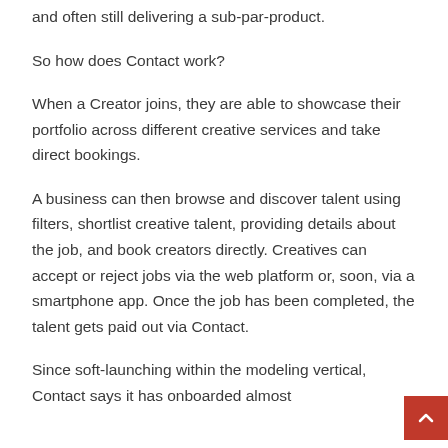and often still delivering a sub-par-product.
So how does Contact work?
When a Creator joins, they are able to showcase their portfolio across different creative services and take direct bookings.
A business can then browse and discover talent using filters, shortlist creative talent, providing details about the job, and book creators directly. Creatives can accept or reject jobs via the web platform or, soon, via a smartphone app. Once the job has been completed, the talent gets paid out via Contact.
Since soft-launching within the modeling vertical, Contact says it has onboarded almost